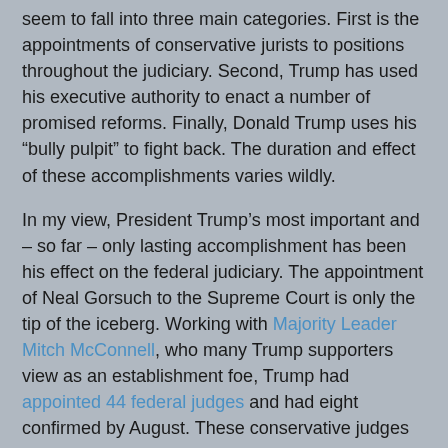seem to fall into three main categories. First is the appointments of conservative jurists to positions throughout the judiciary. Second, Trump has used his executive authority to enact a number of promised reforms. Finally, Donald Trump uses his “bully pulpit” to fight back. The duration and effect of these accomplishments varies wildly.
In my view, President Trump’s most important and – so far – only lasting accomplishment has been his effect on the federal judiciary. The appointment of Neal Gorsuch to the Supreme Court is only the tip of the iceberg. Working with Majority Leader Mitch McConnell, who many Trump supporters view as an establishment foe, Trump had appointed 44 federal judges and had eight confirmed by August. These conservative judges will have a lasting effect on the judicial branch.
The same cannot be said of Trump’s executive actions. Many of President Trump’s executive actions overturn President Obama’s executive actions. A successor could erase President Trump’s executive legacy just as easily.